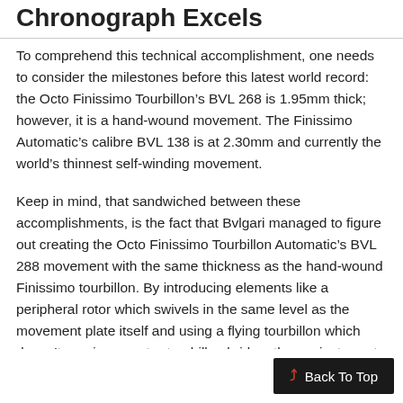Chronograph Excels
To comprehend this technical accomplishment, one needs to consider the milestones before this latest world record: the Octo Finissimo Tourbillon’s BVL 268 is 1.95mm thick; however, it is a hand-wound movement. The Finissimo Automatic’s calibre BVL 138 is at 2.30mm and currently the world’s thinnest self-winding movement.
Keep in mind, that sandwiched between these accomplishments, is the fact that Bvlgari managed to figure out creating the Octo Finissimo Tourbillon Automatic’s BVL 288 movement with the same thickness as the hand-wound Finissimo tourbillon. By introducing elements like a peripheral rotor which swivels in the same level as the movement plate itself and using a flying tourbillon which doesn’t require an extra tourbillon bridge, the easiest way to automatic Octo Finissimo Tourbillon Chronograph like